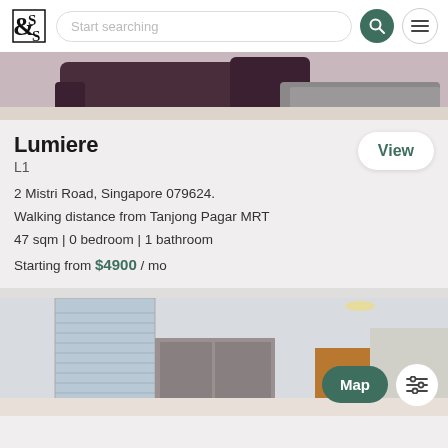[Figure (logo): S&S brand logo in black serif style]
Start searching
[Figure (photo): Top partial view of a living room with purple/dark sofa and grey carpet]
Lumiere
L1
2 Mistri Road, Singapore 079624.
Walking distance from Tanjong Pagar MRT
47 sqm | 0 bedroom | 1 bathroom
Starting from $4900 / mo
[Figure (photo): Interior photo of a second listing showing a bright room with pendant lights and blinds]